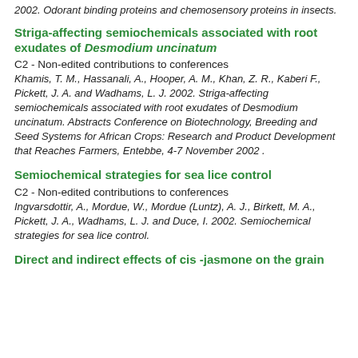2002. Odorant binding proteins and chemosensory proteins in insects.
Striga-affecting semiochemicals associated with root exudates of Desmodium uncinatum
C2 - Non-edited contributions to conferences
Khamis, T. M., Hassanali, A., Hooper, A. M., Khan, Z. R., Kaberi F., Pickett, J. A. and Wadhams, L. J. 2002. Striga-affecting semiochemicals associated with root exudates of Desmodium uncinatum. Abstracts Conference on Biotechnology, Breeding and Seed Systems for African Crops: Research and Product Development that Reaches Farmers, Entebbe, 4-7 November 2002 .
Semiochemical strategies for sea lice control
C2 - Non-edited contributions to conferences
Ingvarsdottir, A., Mordue, W., Mordue (Luntz), A. J., Birkett, M. A., Pickett, J. A., Wadhams, L. J. and Duce, I. 2002. Semiochemical strategies for sea lice control.
Direct and indirect effects of cis-jasmone on the grain